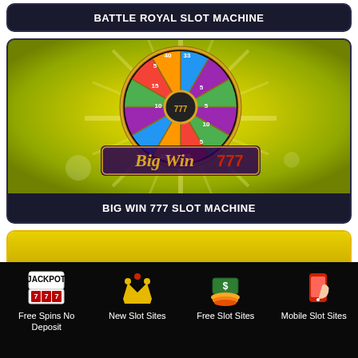BATTLE ROYAL SLOT MACHINE
[Figure (screenshot): Big Win 777 slot machine game thumbnail featuring a colorful prize wheel on a yellow-green starburst background with 'Big Win 777' text logo]
BIG WIN 777 SLOT MACHINE
[Figure (screenshot): Partial view of another slot machine game card with gold/yellow background]
Free Spins No Deposit
New Slot Sites
Free Slot Sites
Mobile Slot Sites